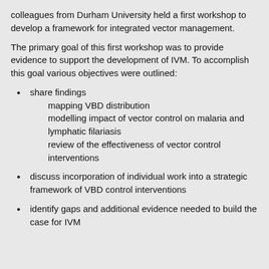colleagues from Durham University held a first workshop to develop a framework for integrated vector management.
The primary goal of this first workshop was to provide evidence to support the development of IVM. To accomplish this goal various objectives were outlined:
share findings
  mapping VBD distribution
  modelling impact of vector control on malaria and lymphatic filariasis
  review of the effectiveness of vector control interventions
discuss incorporation of individual work into a strategic framework of VBD control interventions
identify gaps and additional evidence needed to build the case for IVM